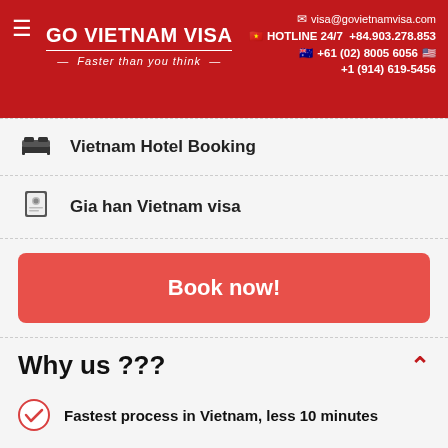GO VIETNAM VISA — Faster than you think | visa@govietnamvisa.com | HOTLINE 24/7 +84.903.278.853 | +61 (02) 8005 6056 | +1 (914) 619-5456
Vietnam Hotel Booking
Gia han Vietnam visa
Book now!
Why us ???
Fastest process in Vietnam, less 10 minutes